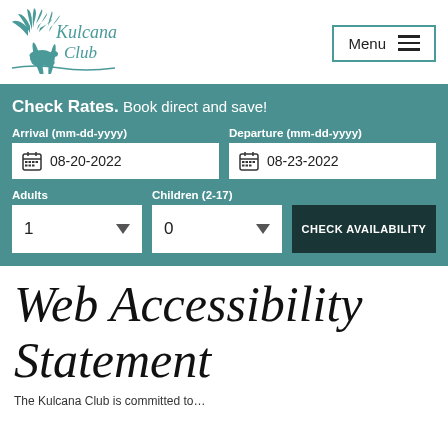[Figure (logo): Kulcana Club logo with palm trees and turtle illustration in teal]
Menu
Check Rates. Book direct and save!
Arrival (mm-dd-yyyy): 08-20-2022
Departure (mm-dd-yyyy): 08-23-2022
Adults: 1
Children (2-17): 0
CHECK AVAILABILITY
Web Accessibility Statement
The Kulcana Club is committed to...